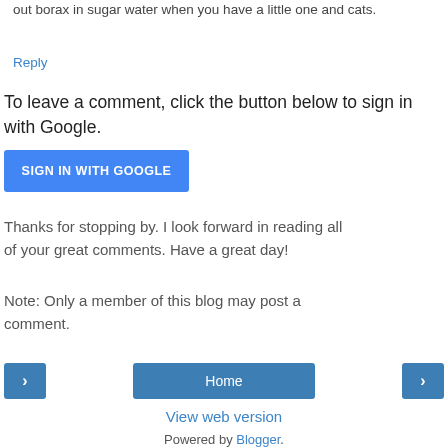out borax in sugar water when you have a little one and cats.
Reply
To leave a comment, click the button below to sign in with Google.
[Figure (other): Blue button labeled SIGN IN WITH GOOGLE]
Thanks for stopping by. I look forward in reading all of your great comments. Have a great day!
Note: Only a member of this blog may post a comment.
[Figure (other): Navigation bar with left arrow button, Home button, and right arrow button]
View web version
Powered by Blogger.